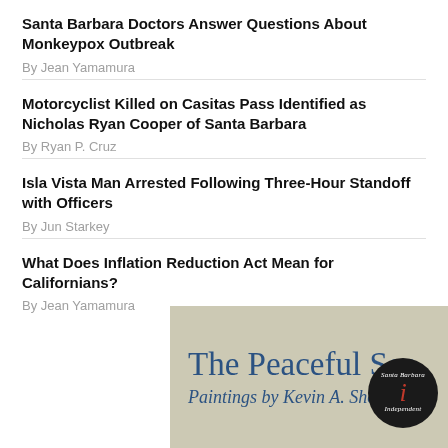Santa Barbara Doctors Answer Questions About Monkeypox Outbreak
By Jean Yamamura
Motorcyclist Killed on Casitas Pass Identified as Nicholas Ryan Cooper of Santa Barbara
By Ryan P. Cruz
Isla Vista Man Arrested Following Three-Hour Standoff with Officers
By Jun Starkey
What Does Inflation Reduction Act Mean for Californians?
By Jean Yamamura
[Figure (illustration): Advertisement banner for 'The Peaceful Sea: Paintings by Kevin A. Short' with the Santa Barbara Independent logo circle on the right]